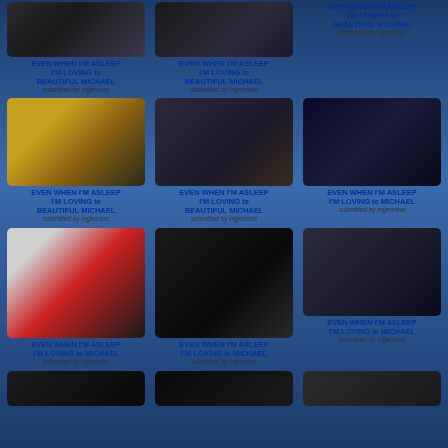[Figure (photo): Photo of Michael Jackson in dark military-style outfit]
EVEN WHEN I'M ASLEEP I'M LOVING te BEAUTIFUL MICHAEL
submitted by mjjennine
[Figure (photo): Photo of Michael Jackson in dark setting]
EVEN WHEN I'M ASLEEP I'M LOVING te BEAUTIFUL MICHAEL
submitted by mjjennine
EVEN WHEN I'M ASLEEP I'M LOVING te BEAUTIFUL MICHAEL
submitted by mjjennine
[Figure (photo): Michael Jackson with woman in yellow outfit]
EVEN WHEN I'M ASLEEP I'M LOVING te BEAUTIFUL MICHAEL
submitted by mjjennine
[Figure (photo): Michael Jackson in military uniform at podium]
EVEN WHEN I'M ASLEEP I'M LOVING te BEAUTIFUL MICHAEL
submitted by mjjennine
[Figure (photo): Michael Jackson in white shirt performing on stage]
EVEN WHEN I'M ASLEEP I'M LOVING te MICHAEL
submitted by mjjennine
[Figure (photo): Michael Jackson under umbrella in red jacket]
EVEN WHEN I'M ASLEEP I'M LOVING te MICHAEL
submitted by mjjennine
[Figure (photo): Michael Jackson in black hat and coat giving peace sign]
EVEN WHEN I'M ASLEEP I'M LOVING te MICHAEL
submitted by mjjennine
[Figure (photo): Group of people waving]
EVEN WHEN I'M ASLEEP I'M LOVING te MICHAEL
submitted by mjjennine
[Figure (photo): Michael Jackson partially visible at bottom]
[Figure (photo): Michael Jackson partially visible at bottom]
[Figure (photo): Person partially visible at bottom]